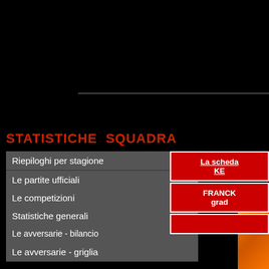[Figure (screenshot): Black header area at top of page]
Home page
STATISTICHE  SQUADRA
Riepiloghi per stagione
Le partite ufficiali
Le competizioni
Statistiche generali
Le avversarie - bilancio
Le avversarie - griglia
Milan vs resto del mondo
Il Milan e gli stadi
I giorni del Milan
I minuti del Milan
La scheda KE
FRANCK grad